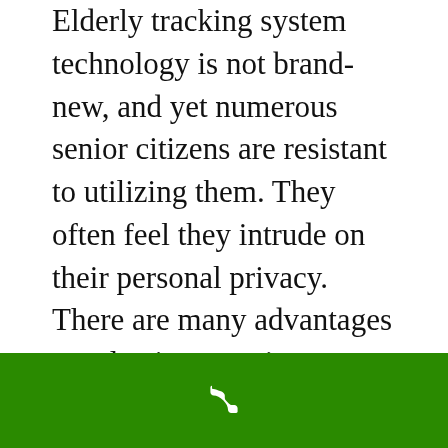Elderly tracking system technology is not brand-new, and yet numerous senior citizens are resistant to utilizing them. They often feel they intrude on their personal privacy. There are many advantages to selecting a senior monitoring system.
The biggest benefit of all is that it can permit seniors to remain in their houses longer. As elders age, and their threats of mishap, injury, and falls increase, many household members and loved ones begin
[Figure (other): Green bar at the bottom of the screen with a white phone/call icon in the center]